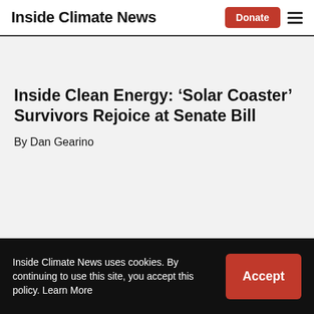Inside Climate News
Inside Clean Energy: ‘Solar Coaster’ Survivors Rejoice at Senate Bill
By Dan Gearino
Inside Climate News uses cookies. By continuing to use this site, you accept this policy. Learn More